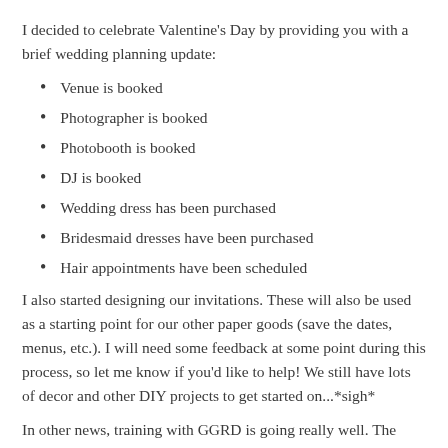I decided to celebrate Valentine's Day by providing you with a brief wedding planning update:
Venue is booked
Photographer is booked
Photobooth is booked
DJ is booked
Wedding dress has been purchased
Bridesmaid dresses have been purchased
Hair appointments have been scheduled
I also started designing our invitations. These will also be used as a starting point for our other paper goods (save the dates, menus, etc.). I will need some feedback at some point during this process, so let me know if you'd like to help! We still have lots of decor and other DIY projects to get started on...*sigh*
In other news, training with GGRD is going really well. The draft